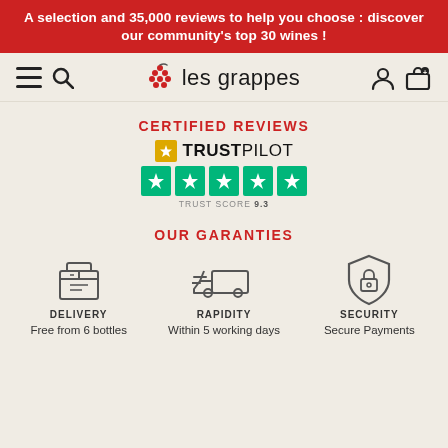A selection and 35,000 reviews to help you choose : discover our community's top 30 wines !
[Figure (logo): les grappes logo with grape cluster icon, hamburger menu and search icon on left, user and cart icons on right]
CERTIFIED REVIEWS
[Figure (other): Trustpilot badge with 5 green stars and TRUST SCORE 9.3]
OUR GARANTIES
[Figure (infographic): Three guarantee icons: Delivery (box icon), Rapidity (truck icon), Security (shield/lock icon)]
DELIVERY
Free from 6 bottles
RAPIDITY
Within 5 working days
SECURITY
Secure Payments